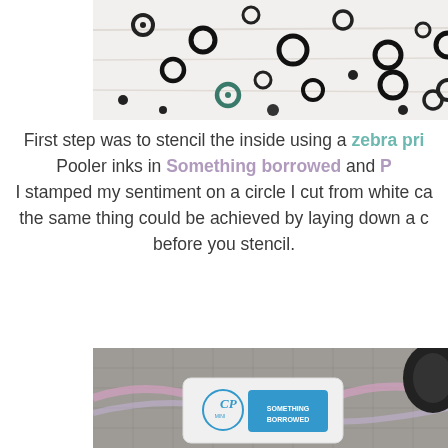[Figure (photo): Top photo showing rubber O-rings and washers scattered on a white surface, cropped showing only the top portion of the image.]
First step was to stencil the inside using a zebra print stencil and Color Pooler inks in Something borrowed and R... I stamped my sentiment on a circle I cut from white ca... the same thing could be achieved by laying down a c... before you stencil.
[Figure (photo): Bottom photo showing crafting supplies on a cutting mat: an ink pad labeled 'Something Borrowed' (CP brand), a large black brayer/roller, and pink/lavender ribbons.]